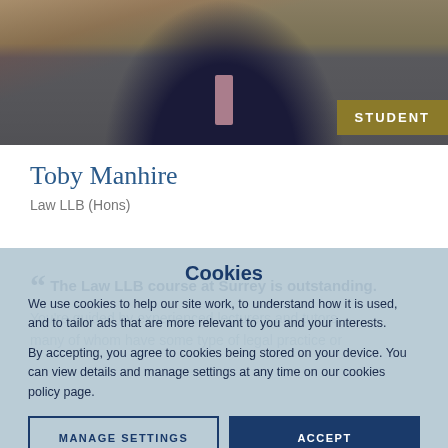[Figure (photo): Photo of Toby Manhire, a man in a dark suit and pink tie, shown from chest up against a background of bookshelves. A gold/olive 'STUDENT' badge appears in the lower right of the image.]
Toby Manhire
Law LLB (Hons)
“ The Law LLB course at Surrey is outstanding. You're guided by experienced lecturers and tutors, many of whom have some type of legal practice or
Cookies
We use cookies to help our site work, to understand how it is used, and to tailor ads that are more relevant to you and your interests.
By accepting, you agree to cookies being stored on your device. You can view details and manage settings at any time on our cookies policy page.